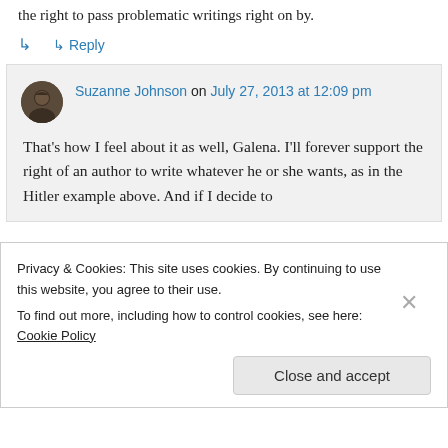the right to pass problematic writings right on by.
↳ Reply
Suzanne Johnson on July 27, 2013 at 12:09 pm
That's how I feel about it as well, Galena. I'll forever support the right of an author to write whatever he or she wants, as in the Hitler example above. And if I decide to
Privacy & Cookies: This site uses cookies. By continuing to use this website, you agree to their use.
To find out more, including how to control cookies, see here: Cookie Policy
Close and accept